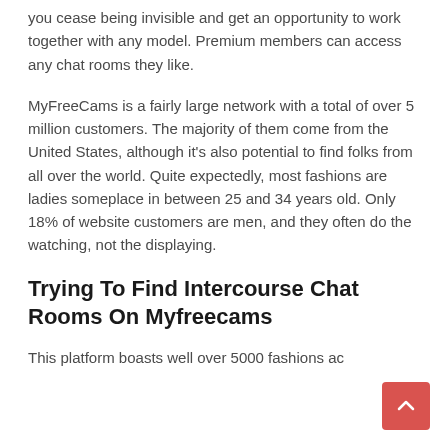you cease being invisible and get an opportunity to work together with any model. Premium members can access any chat rooms they like.
MyFreeCams is a fairly large network with a total of over 5 million customers. The majority of them come from the United States, although it's also potential to find folks from all over the world. Quite expectedly, most fashions are ladies someplace in between 25 and 34 years old. Only 18% of website customers are men, and they often do the watching, not the displaying.
Trying To Find Intercourse Chat Rooms On Myfreecams
This platform boasts well over 5000 fashions ac…